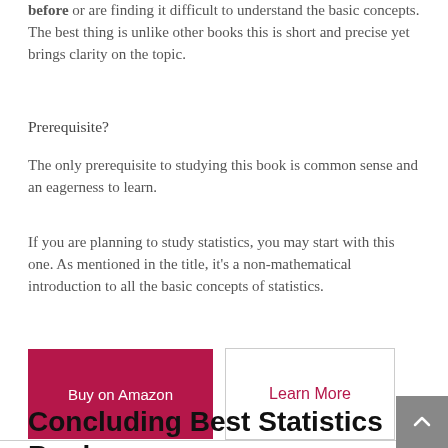before or are finding it difficult to understand the basic concepts. The best thing is unlike other books this is short and precise yet brings clarity on the topic.
Prerequisite?
The only prerequisite to studying this book is common sense and an eagerness to learn.
If you are planning to study statistics, you may start with this one. As mentioned in the title, it's a non-mathematical introduction to all the basic concepts of statistics.
[Figure (other): Two buttons: 'Buy on Amazon' (dark red filled) and 'Learn More' (white with border, dark red text)]
Concluding Best Statistics Book for Data Science